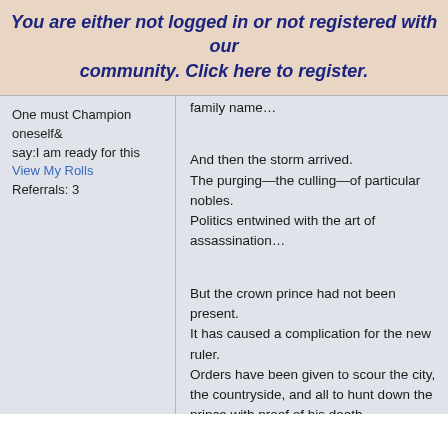You are either not logged in or not registered with our community. Click here to register.
One must Champion oneself& say:I am ready for this
View My Rolls
Referrals: 3
family name…

And then the storm arrived.
The purging—the culling—of particular nobles.
Politics entwined with the art of assassination…

But the crown prince had not been present.
It has caused a complication for the new ruler.
Orders have been given to scour the city, the countryside, and all to hunt down the prince with proof of his death.

The prince is well hidden, however, in the underbelly of the city, and his protector is an unusual sort: a young woman, one who had been casually intimate with the prince—but